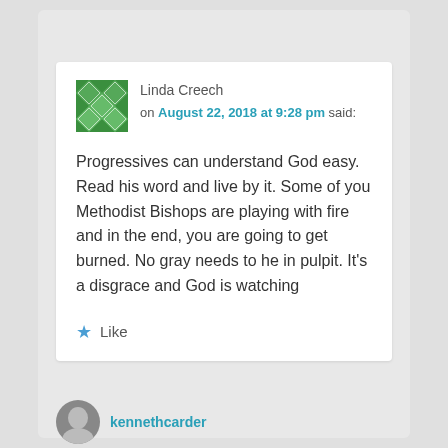Linda Creech on August 22, 2018 at 9:28 pm said:
Progressives can understand God easy. Read his word and live by it. Some of you Methodist Bishops are playing with fire and in the end, you are going to get burned. No gray needs to he in pulpit. It's a disgrace and God is watching
Like
kennethcarder